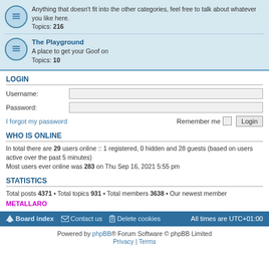Anything that doesn't fit into the other categories, feel free to talk about whatever you like here. Topics: 216
The Playground
A place to get your Goof on
Topics: 10
LOGIN
Username:
Password:
I forgot my password    Remember me   Login
WHO IS ONLINE
In total there are 29 users online :: 1 registered, 0 hidden and 28 guests (based on users active over the past 5 minutes)
Most users ever online was 283 on Thu Sep 16, 2021 5:55 pm
STATISTICS
Total posts 4371 • Total topics 931 • Total members 3638 • Our newest member METALLARO
Board index   Contact us   Delete cookies   All times are UTC+01:00
Powered by phpBB® Forum Software © phpBB Limited
Privacy | Terms